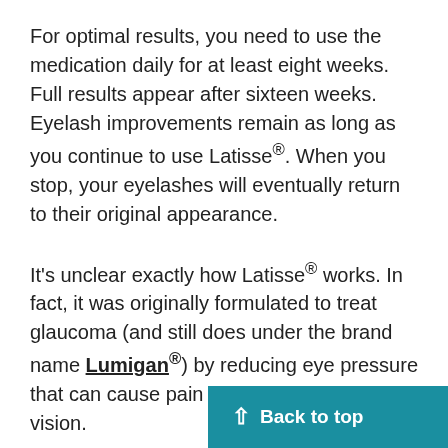For optimal results, you need to use the medication daily for at least eight weeks. Full results appear after sixteen weeks. Eyelash improvements remain as long as you continue to use Latisse®. When you stop, your eyelashes will eventually return to their original appearance.
It's unclear exactly how Latisse® works. In fact, it was originally formulated to treat glaucoma (and still does under the brand name Lumigan®) by reducing eye pressure that can cause pain and adversely affect vision.
We do know that Latisse® keeps eyelashes in the growth stage for a longer period than usual and stimulates the transition from an inac... to an active growth phase. It's just no...
Back to top